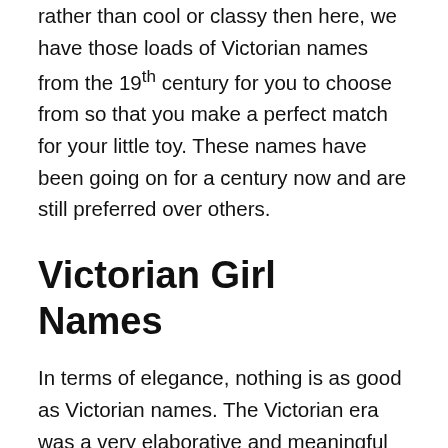If you are looking for a name that will last longer rather than cool or classy then here, we have those loads of Victorian names from the 19th century for you to choose from so that you make a perfect match for your little toy. These names have been going on for a century now and are still preferred over others.
Victorian Girl Names
In terms of elegance, nothing is as good as Victorian names. The Victorian era was a very elaborative and meaningful time.
So, if you want your girl to be named with the most